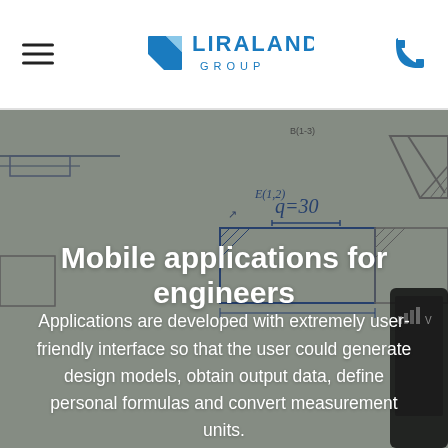LIRALAND GROUP
[Figure (photo): Engineering sketch/blueprint background showing hand-drawn structural diagrams with annotations including 'q=30', with a smartphone visible at the right edge]
Mobile applications for engineers
Applications are developed with extremely user-friendly interface so that the user could generate design models, obtain output data, define personal formulas and convert measurement units.